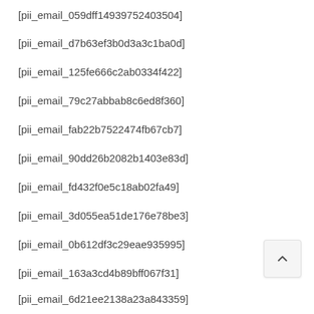[pii_email_059dff14939752403504]
[pii_email_d7b63ef3b0d3a3c1ba0d]
[pii_email_125fe666c2ab0334f422]
[pii_email_79c27abbab8c6ed8f360]
[pii_email_fab22b7522474fb67cb7]
[pii_email_90dd26b2082b1403e83d]
[pii_email_fd432f0e5c18ab02fa49]
[pii_email_3d055ea51de176e78be3]
[pii_email_0b612df3c29eae935995]
[pii_email_163a3cd4b89bff067f31]
[pii_email_6d21ee2138a23a843359]